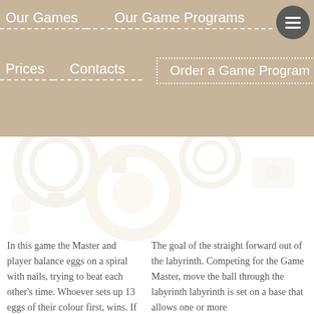Our Games | Our Game Programs | P...
Prices | Contacts | Order a Game Program
In this game the Master and player balance eggs on a spiral with nails, trying to beat each other's time. Whoever sets up 13 eggs of their colour first, wins. If the eggs fall you have to start the challenge from the beginning.
The goal of th... straight forwa... out of the lab... Competing fo... Game Master, ... move the ball... the labyrinth ... labyrinth is se... base that allo... one or more ...